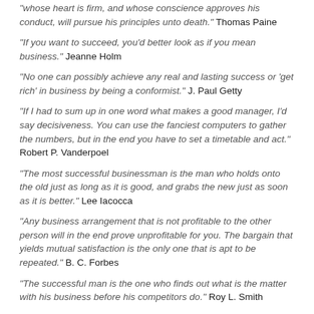“whose heart is firm, and whose conscience approves his conduct, will pursue his principles unto death.” Thomas Paine
“If you want to succeed, you’d better look as if you mean business.” Jeanne Holm
“No one can possibly achieve any real and lasting success or ‘get rich’ in business by being a conformist.” J. Paul Getty
“If I had to sum up in one word what makes a good manager, I’d say decisiveness. You can use the fanciest computers to gather the numbers, but in the end you have to set a timetable and act.” Robert P. Vanderpoel
“The most successful businessman is the man who holds onto the old just as long as it is good, and grabs the new just as soon as it is better.” Lee Iacocca
“Any business arrangement that is not profitable to the other person will in the end prove unprofitable for you. The bargain that yields mutual satisfaction is the only one that is apt to be repeated.” B. C. Forbes
“The successful man is the one who finds out what is the matter with his business before his competitors do.” Roy L. Smith